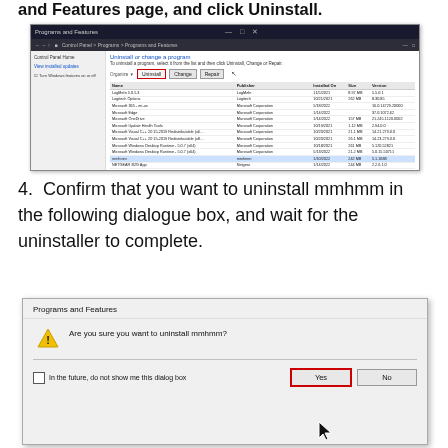and Features page, and click Uninstall.
[Figure (screenshot): Windows Programs and Features window showing a list of installed programs. The 'Uninstall' button in the toolbar is highlighted with a red border. The 'mmhmm' entry in the program list is highlighted in blue.]
4. Confirm that you want to uninstall mmhmm in the following dialogue box, and wait for the uninstaller to complete.
[Figure (screenshot): Programs and Features dialog box asking 'Are you sure you want to uninstall mmhmm?' with a yellow warning icon. There is a checkbox labeled 'In the future, do not show me this dialog box'. The 'Yes' button is highlighted with a red border and a mouse cursor is pointing at it. A 'No' button is also visible.]